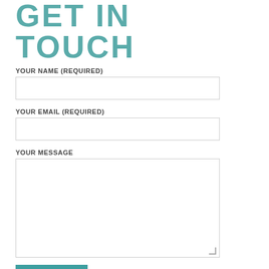GET IN TOUCH
YOUR NAME (REQUIRED)
YOUR EMAIL (REQUIRED)
YOUR MESSAGE
SEND
View our privacy policy